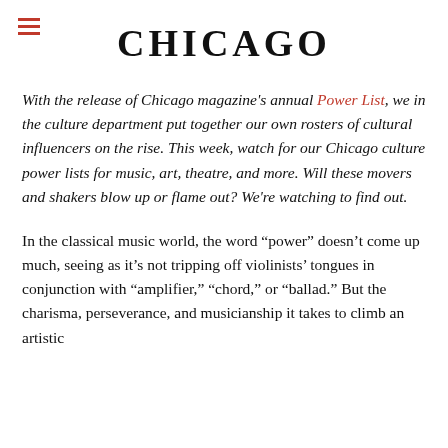CHICAGO
With the release of Chicago magazine's annual Power List, we in the culture department put together our own rosters of cultural influencers on the rise. This week, watch for our Chicago culture power lists for music, art, theatre, and more. Will these movers and shakers blow up or flame out? We're watching to find out.
In the classical music world, the word “power” doesn’t come up much, seeing as it’s not tripping off violinists’ tongues in conjunction with “amplifier,” “chord,” or “ballad.” But the charisma, perseverance, and musicianship it takes to climb an artistic